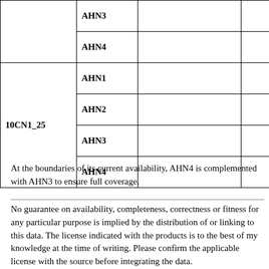|  | AHN3 |  |  |
|  | AHN4 |  |  |
| 10CN1_25 | AHN1 |  |  |
|  | AHN2 |  |  |
|  | AHN3 |  |  |
|  | AHN4 |  |  |
At the boundaries of its current availability, AHN4 is complemented with AHN3 to ensure full coverage.
No guarantee on availability, completeness, correctness or fitness for any particular purpose is implied by the distribution of or linking to this data. The license indicated with the products is to the best of my knowledge at the time of writing. Please confirm the applicable license with the source before integrating the data.